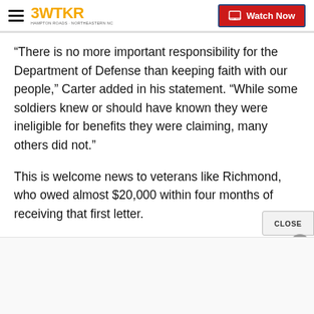3WTKR — Watch Now
“There is no more important responsibility for the Department of Defense than keeping faith with our people,” Carter added in his statement. “While some soldiers knew or should have known they were ineligible for benefits they were claiming, many others did not.”
This is welcome news to veterans like Richmond, who owed almost $20,000 within four months of receiving that first letter.
‘Crippled my finances’